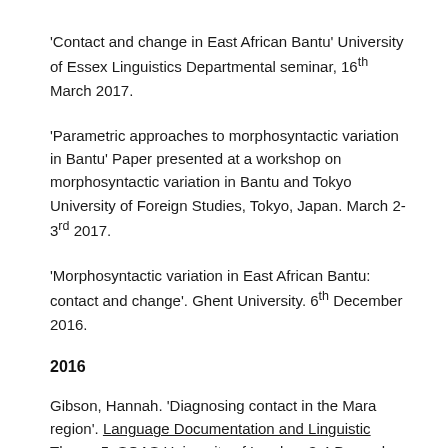'Contact and change in East African Bantu' University of Essex Linguistics Departmental seminar, 16th March 2017.
'Parametric approaches to morphosyntactic variation in Bantu' Paper presented at a workshop on morphosyntactic variation in Bantu and Tokyo University of Foreign Studies, Tokyo, Japan. March 2-3rd 2017.
'Morphosyntactic variation in East African Bantu: contact and change'. Ghent University. 6th December 2016.
2016
Gibson, Hannah. 'Diagnosing contact in the Mara region'. Language Documentation and Linguistic Theory 5, SOAS University of London. 3-4 December 2016.